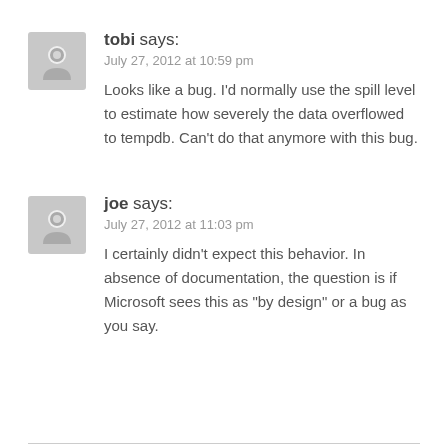tobi says:
July 27, 2012 at 10:59 pm
Looks like a bug. I'd normally use the spill level to estimate how severely the data overflowed to tempdb. Can't do that anymore with this bug.
joe says:
July 27, 2012 at 11:03 pm
I certainly didn't expect this behavior. In absence of documentation, the question is if Microsoft sees this as "by design" or a bug as you say.